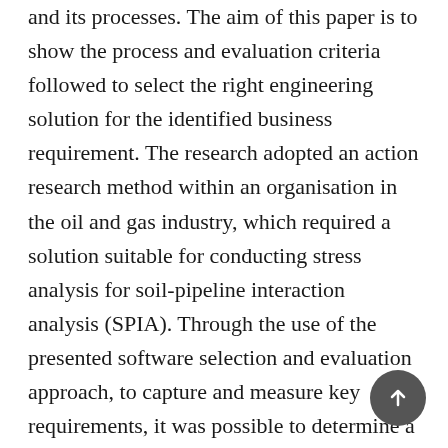and its processes. The aim of this paper is to show the process and evaluation criteria followed to select the right engineering solution for the identified business requirement. The research adopted an action research method within an organisation in the oil and gas industry, which required a solution suitable for conducting stress analysis for soil-pipeline interaction analysis (SPIA). Through the use of the presented software selection and evaluation approach, to capture and measure key requirements, it was possible to determine a suitable software for the organisation. This paper investigates methodologies for selecting software packages, software evaluation techniques, and software evaluation criteria in evaluating software packages before providing an explanation of the developed methodology adopted. The key findings of the study are: (1) that there is a need to create a framework for software selection methodologies, (2)